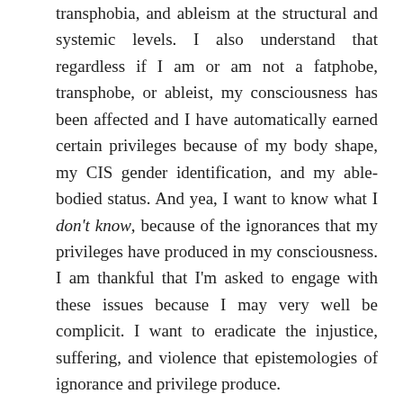transphobia, and ableism at the structural and systemic levels. I also understand that regardless if I am or am not a fatphobe, transphobe, or ableist, my consciousness has been affected and I have automatically earned certain privileges because of my body shape, my CIS gender identification, and my able-bodied status. And yea, I want to know what I don't know, because of the ignorances that my privileges have produced in my consciousness. I am thankful that I'm asked to engage with these issues because I may very well be complicit. I want to eradicate the injustice, suffering, and violence that epistemologies of ignorance and privilege produce.
I still hold in my heart the wonderful memories and times I have shared with these friends, in spite of these clear instances of racial ignorance and misunderstandings. (As a matter of fact, that weekend "Luke" yelled "nigger" was a